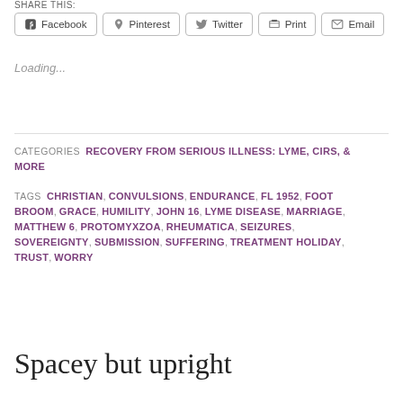SHARE THIS:
Facebook | Pinterest | Twitter | Print | Email
Loading...
CATEGORIES  RECOVERY FROM SERIOUS ILLNESS: LYME, CIRS, & MORE
TAGS  CHRISTIAN, CONVULSIONS, ENDURANCE, FL 1952, FOOT BROOM, GRACE, HUMILITY, JOHN 16, LYME DISEASE, MARRIAGE, MATTHEW 6, PROTOMYXZOA, RHEUMATICA, SEIZURES, SOVEREIGNTY, SUBMISSION, SUFFERING, TREATMENT HOLIDAY, TRUST, WORRY
Spacey but upright